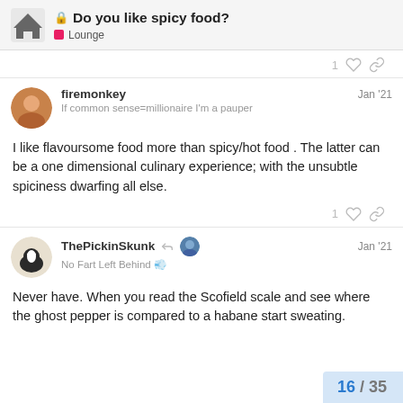Do you like spicy food? — Lounge
1 [like] [link]
firemonkey Jan '21
If common sense=millionaire I'm a pauper
I like flavoursome food more than spicy/hot food . The latter can be a one dimensional culinary experience; with the unsubtle spiciness dwarfing all else.
1 [like] [link]
ThePickinSkunk Jan '21
No Fart Left Behind 💨
Never have. When you read the Scofield scale and see where the ghost pepper is compared to a habane start sweating.
16 / 35